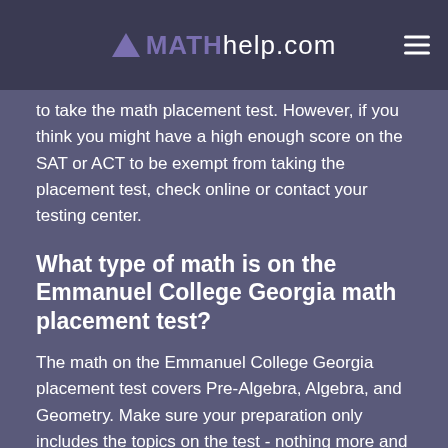MATHhelp.com
to take the math placement test. However, if you think you might have a high enough score on the SAT or ACT to be exempt from taking the placement test, check online or contact your testing center.
What type of math is on the Emmanuel College Georgia math placement test?
The math on the Emmanuel College Georgia placement test covers Pre-Algebra, Algebra, and Geometry. Make sure your preparation only includes the topics on the test - nothing more and nothing less. The best test prep courses emphasize efficiency.
Is the math on the Emmanuel College